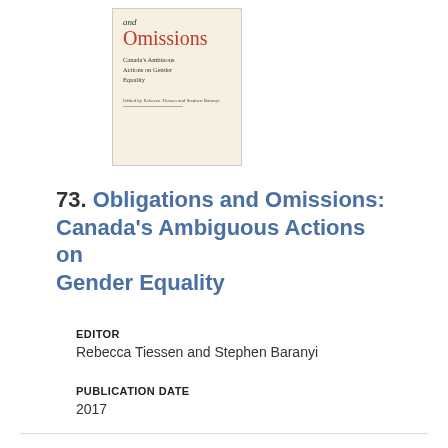[Figure (illustration): Book cover showing 'and Omissions: Canada's Ambiguous Actions on Gender Equality' edited by Rebecca Tiessen and Stephen Baranyi, cream/ivory background with red title text]
73. Obligations and Omissions: Canada's Ambiguous Actions on Gender Equality
EDITOR
Rebecca Tiessen and Stephen Baranyi
PUBLICATION DATE
2017